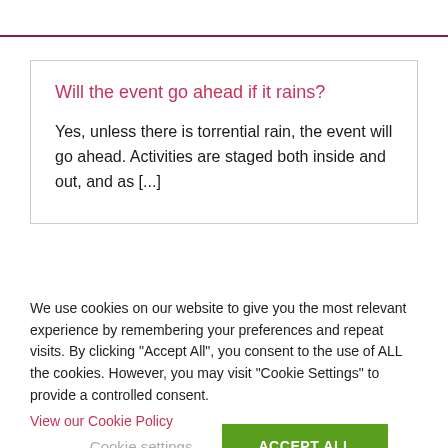Will the event go ahead if it rains?
Yes, unless there is torrential rain, the event will go ahead. Activities are staged both inside and out, and as [...]
We use cookies on our website to give you the most relevant experience by remembering your preferences and repeat visits. By clicking "Accept All", you consent to the use of ALL the cookies. However, you may visit "Cookie Settings" to provide a controlled consent.
Cookie settings | ACCEPT ALL
View our Cookie Policy